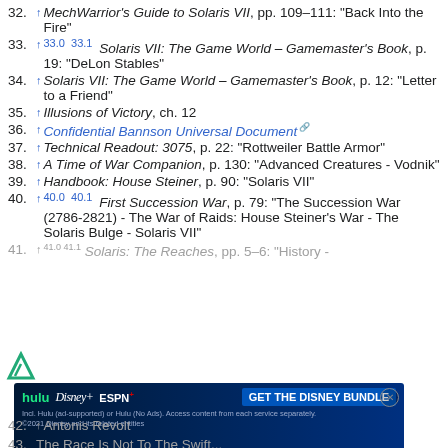32. ↑ MechWarrior's Guide to Solaris VII, pp. 109–111: "Back Into the Fire"
33. ↑ 33.0 33.1 Solaris VII: The Game World – Gamemaster's Book, p. 19: "DeLon Stables"
34. ↑ Solaris VII: The Game World – Gamemaster's Book, p. 12: "Letter to a Friend"
35. ↑ Illusions of Victory, ch. 12
36. ↑ Confidential Bannson Universal Document
37. ↑ Technical Readout: 3075, p. 22: "Rottweiler Battle Armor"
38. ↑ A Time of War Companion, p. 130: "Advanced Creatures - Vodnik"
39. ↑ Handbook: House Steiner, p. 90: "Solaris VII"
40. ↑ 40.0 40.1 First Succession War, p. 79: "The Succession War (2786-2821) - The War of Raids: House Steiner's War - The Solaris Bulge - Solaris VII"
41. ↑ 41.0 41.1 Solaris: The Reaches, pp. 5–6: "History - ..."
42. ... Antonis Revolt
43. The Race Is Not To The Swift...
[Figure (infographic): Hulu Disney+ ESPN+ GET THE DISNEY BUNDLE advertisement banner]